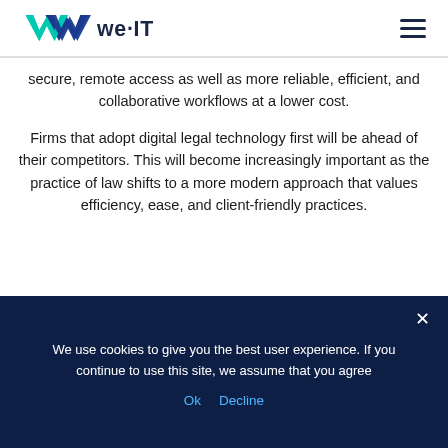we·IT
secure, remote access as well as more reliable, efficient, and collaborative workflows at a lower cost.
Firms that adopt digital legal technology first will be ahead of their competitors. This will become increasingly important as the practice of law shifts to a more modern approach that values efficiency, ease, and client-friendly practices.
We use cookies to give you the best user experience. If you continue to use this site, we assume that you agree